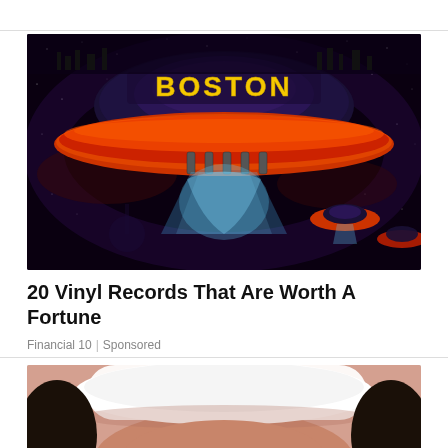[Figure (photo): Boston band album cover artwork showing a flying saucer spacecraft with 'BOSTON' text on top, in a space scene with stars and other flying saucers, orange and dark colors]
20 Vinyl Records That Are Worth A Fortune
Financial 10 | Sponsored
[Figure (photo): Partial image of a person wearing a white headband or head covering, appears to be a close-up portrait photo]